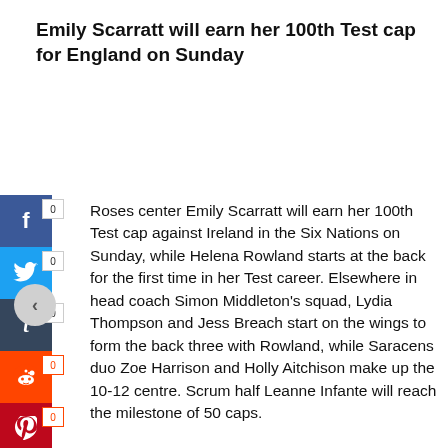Emily Scarratt will earn her 100th Test cap for England on Sunday
[Figure (infographic): Social media share buttons: Facebook (0), Twitter (0), Tumblr (0), Reddit (0), Pinterest (0)]
Roses center Emily Scarratt will earn her 100th Test cap against Ireland in the Six Nations on Sunday, while Helena Rowland starts at the back for the first time in her Test career. Elsewhere in head coach Simon Middleton's squad, Lydia Thompson and Jess Breach start on the wings to form the back three with Rowland, while Saracens duo Zoe Harrison and Holly Aitchison make up the 10-12 centre. Scrum half Leanne Infante will reach the milestone of 50 caps.
[Figure (other): Navigation back arrow button]